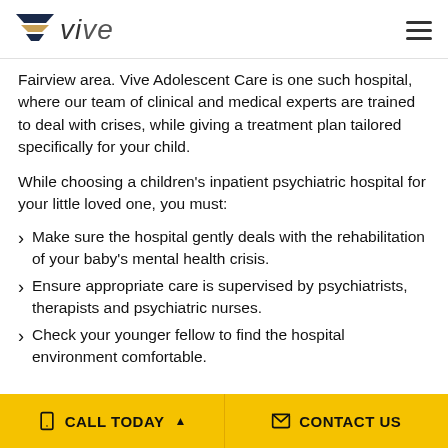Vive
Fairview area. Vive Adolescent Care is one such hospital, where our team of clinical and medical experts are trained to deal with crises, while giving a treatment plan tailored specifically for your child.
While choosing a children's inpatient psychiatric hospital for your little loved one, you must:
Make sure the hospital gently deals with the rehabilitation of your baby's mental health crisis.
Ensure appropriate care is supervised by psychiatrists, therapists and psychiatric nurses.
Check your younger fellow to find the hospital environment comfortable.
CALL TODAY | CONTACT US